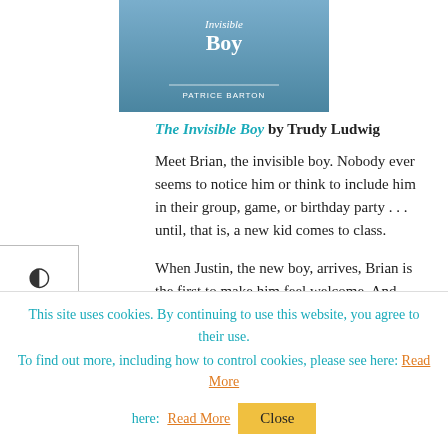[Figure (illustration): Book cover of 'The Invisible Boy' by Trudy Ludwig, illustrated by Patrice Barton, showing partial cover with a child figure]
The Invisible Boy by Trudy Ludwig
Meet Brian, the invisible boy. Nobody ever seems to notice him or think to include him in their group, game, or birthday party . . . until, that is, a new kid comes to class.
When Justin, the new boy, arrives, Brian is the first to make him feel welcome. And when Brian and Justin team up to work on a
This site uses cookies. By continuing to use this website, you agree to their use.
To find out more, including how to control cookies, please see here: Read More
Close